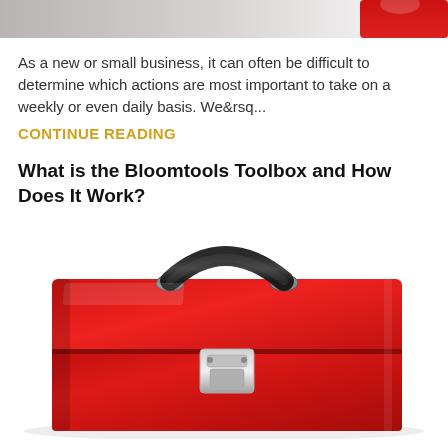[Figure (photo): Top portion of a photo showing a partial red toolbox or similar red object on a light/grey background, cropped at the top of the page.]
As a new or small business, it can often be difficult to determine which actions are most important to take on a weekly or even daily basis. We&rsq...
CONTINUE READING
What is the Bloomtools Toolbox and How Does It Work?
[Figure (photo): A red metal toolbox with a black handle on top and a silver latch in the middle, photographed on a white background.]